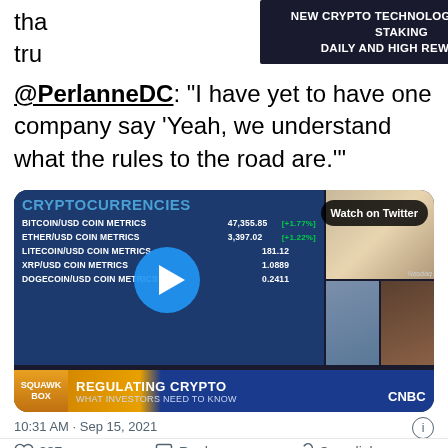that [not visible] not true [not visible] @PerlanneDC: "I have yet to have one company say 'Yeah, we understand what the rules to the road are.'"
[Figure (screenshot): CNBC Squawk Box video thumbnail showing cryptocurrency prices: BITCOIN/USD COIN METRICS 47,355.85 [+1.77%], ETHER/USD COIN METRICS 3,397.02 [+1.22%], LITECOIN/USD COIN METRICS 181.12, XRP/USD COIN METRICS 1.0889, DOGECOIN/USD COIN METRICS 0.2411. Bottom bar reads 'REGULATING CRYPTO - WHAT INVESTORS NEED TO KNOW'. Watch on Twitter button visible.]
10:31 AM · Sep 15, 2021
837   Reply   Copy link
Read 84 replies